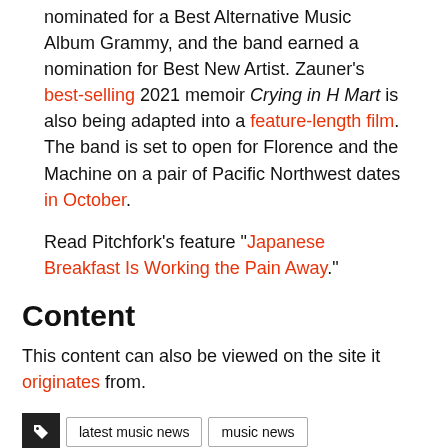nominated for a Best Alternative Music Album Grammy, and the band earned a nomination for Best New Artist. Zauner's best-selling 2021 memoir Crying in H Mart is also being adapted into a feature-length film. The band is set to open for Florence and the Machine on a pair of Pacific Northwest dates in October.
Read Pitchfork's feature "Japanese Breakfast Is Working the Pain Away."
Content
This content can also be viewed on the site it originates from.
latest music news
music news
music updates
pop music news